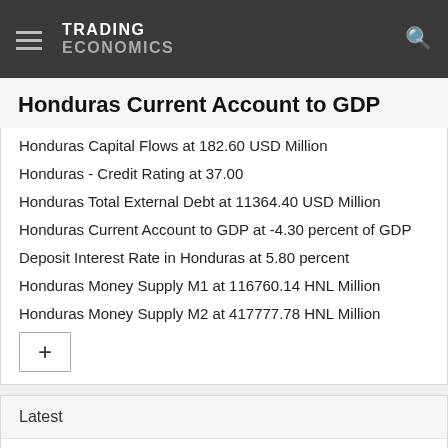TRADING ECONOMICS
Honduras Current Account to GDP
Honduras Capital Flows at 182.60 USD Million
Honduras - Credit Rating at 37.00
Honduras Total External Debt at 11364.40 USD Million
Honduras Current Account to GDP at -4.30 percent of GDP
Deposit Interest Rate in Honduras at 5.80 percent
Honduras Money Supply M1 at 116760.14 HNL Million
Honduras Money Supply M2 at 417777.78 HNL Million
Latest
South African Stocks Close Muted